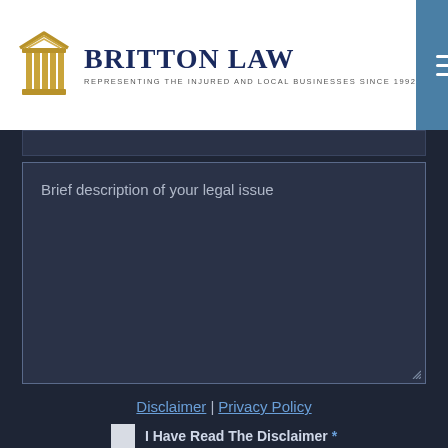[Figure (logo): Britton Law logo with stylized column/pillar icon in gold, company name in dark navy serif font, and tagline 'REPRESENTING THE INJURED AND LOCAL BUSINESSES SINCE 1992']
Brief description of your legal issue
Disclaimer | Privacy Policy
I Have Read The Disclaimer *